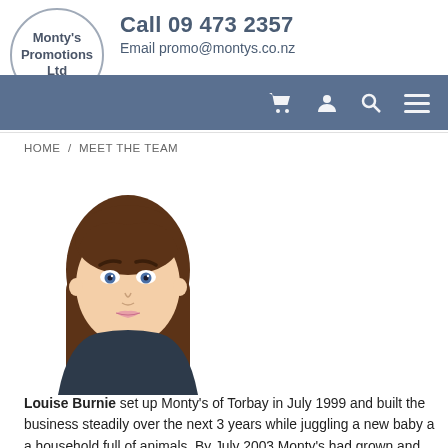Monty's Promotions Ltd | Call 09 473 2357 | Email promo@montys.co.nz
HOME / MEET THE TEAM
[Figure (illustration): Cartoon avatar illustration of a woman with long brown hair, blue eyes, light skin, pink lips, wearing a dark top]
Louise Burnie set up Monty's of Torbay in July 1999 and built the business steadily over the next 3 years while juggling a new baby a a household full of animals. By July 2003 Monty's had grown and needed a name that reflected what we did a bit better as we had people guessing that we operated anything from a restaurant to a strip club! Louise works on the business to ensure that our system